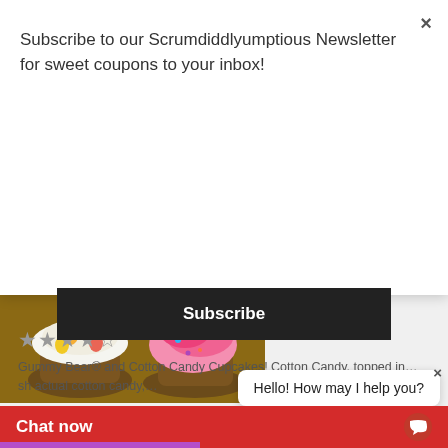Subscribe to our Scrumdiddlyumptious Newsletter for sweet coupons to your inbox!
Subscribe
[Figure (photo): Two cupcakes - one with white frosting and gummy bears, one with pink cotton candy swirl frosting]
GUMMY BEAR® AND COTTON CANDY CUPCAKES!
★★★★☆
Gummy Bear® and Cotton Candy Cupcakes! Cotton Candy, topped in... sh actual cotton candy,...
Hello! How may I help you?
Chat now